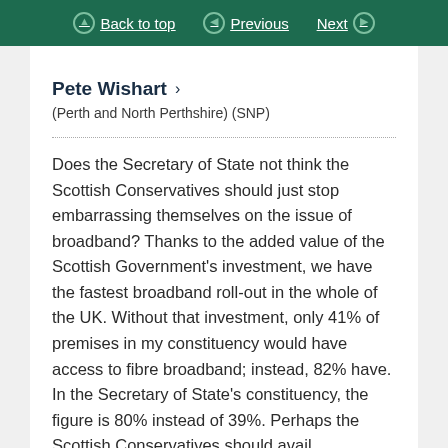Back to top  Previous  Next
Pete Wishart >
(Perth and North Perthshire) (SNP)
Does the Secretary of State not think the Scottish Conservatives should just stop embarrassing themselves on the issue of broadband? Thanks to the added value of the Scottish Government's investment, we have the fastest broadband roll-out in the whole of the UK. Without that investment, only 41% of premises in my constituency would have access to fibre broadband; instead, 82% have. In the Secretary of State's constituency, the figure is 80% instead of 39%. Perhaps the Scottish Conservatives should avail themselves of Scottish broadband and